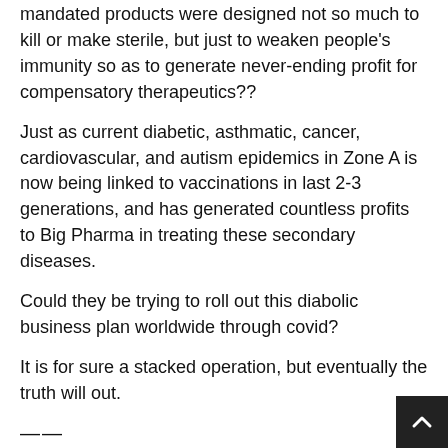mandated products were designed not so much to kill or make sterile, but just to weaken people's immunity so as to generate never-ending profit for compensatory therapeutics??
Just as current diabetic, asthmatic, cancer, cardiovascular, and autism epidemics in Zone A is now being linked to vaccinations in last 2-3 generations, and has generated countless profits to Big Pharma in treating these secondary diseases.
Could they be trying to roll out this diabolic business plan worldwide through covid?
It is for sure a stacked operation, but eventually the truth will out.
——
Some related thoughts:
(1)
– Zone A has known since Nixon ended Bretton Woods in 1971 that their ponzi capitalism was on life-support and they needed a new hook to maintain global dominance